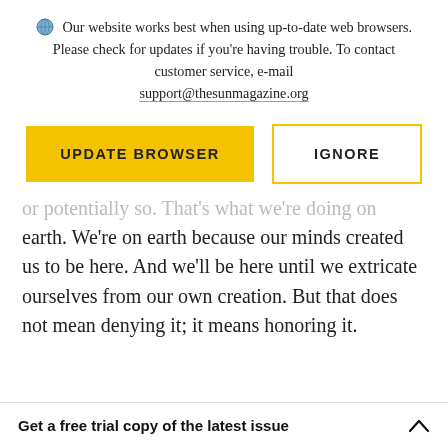Our website works best when using up-to-date web browsers. Please check for updates if you're having trouble. To contact customer service, e-mail support@thesunmagazine.org
[Figure (screenshot): Two buttons: a yellow filled 'UPDATE BROWSER' button and a yellow-outlined 'IGNORE' button]
or potentially so. That's what we're doing on earth. We're on earth because our minds created us to be here. And we'll be here until we extricate ourselves from our own creation. But that does not mean denying it; it means honoring it.
Get a free trial copy of the latest issue